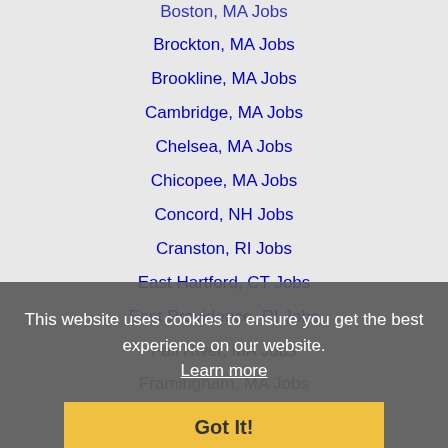Boston, MA Jobs
Brockton, MA Jobs
Brookline, MA Jobs
Cambridge, MA Jobs
Chelsea, MA Jobs
Chicopee, MA Jobs
Concord, NH Jobs
Cranston, RI Jobs
East Hartford, CT Jobs
East Providence, RI Jobs
Fall River, MA Jobs
Framingham, MA Jobs
Hartford, CT Jobs
Haverhill, MA Jobs
Lawrence, MA Jobs
Leominster, MA Jobs
Lowell, MA Jobs
Lynn, MA Jobs
Malden, MA Jobs
This website uses cookies to ensure you get the best experience on our website. Learn more
Got It!